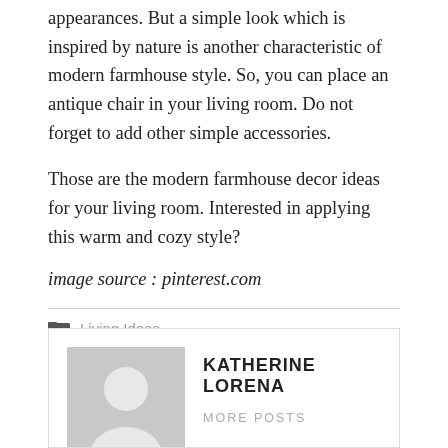appearances. But a simple look which is inspired by nature is another characteristic of modern farmhouse style. So, you can place an antique chair in your living room. Do not forget to add other simple accessories.
Those are the modern farmhouse decor ideas for your living room. Interested in applying this warm and cozy style?
image source : pinterest.com
Living Ideas
KATHERINE LORENA
MORE POSTS
[Figure (illustration): Author avatar placeholder: grey square with a white silhouette of a person (head and shoulders)]